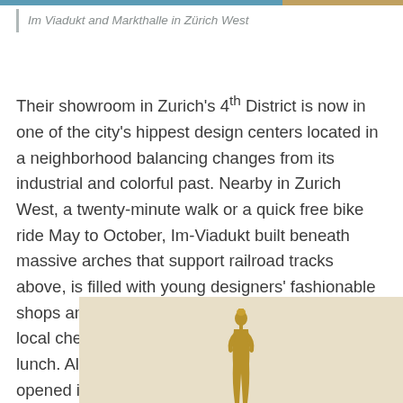Im Viadukt and Markthalle in Zürich West
Their showroom in Zurich's 4th District is now in one of the city's hippest design centers located in a neighborhood balancing changes from its industrial and colorful past. Nearby in Zurich West, a twenty-minute walk or a quick free bike ride May to October, Im-Viadukt built beneath massive arches that support railroad tracks above, is filled with young designers' fashionable shops and food markets where one can sample local cheeses or sit at a panini bar for a quick lunch. Along with Schiffbau, a cultural center that opened in 2002, Im-Viadukt helped transition the area into a shopping, dining, and music destination.
[Figure (photo): A small golden figurine/statue photographed against a warm beige background, visible from approximately the waist up at the bottom of the image.]